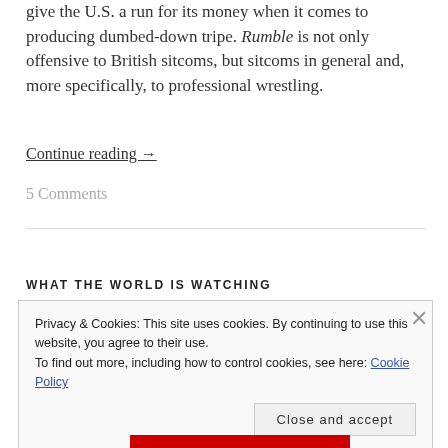give the U.S. a run for its money when it comes to producing dumbed-down tripe. Rumble is not only offensive to British sitcoms, but sitcoms in general and, more specifically, to professional wrestling.
Continue reading →
5 Comments
WHAT THE WORLD IS WATCHING
Privacy & Cookies: This site uses cookies. By continuing to use this website, you agree to their use. To find out more, including how to control cookies, see here: Cookie Policy
Close and accept